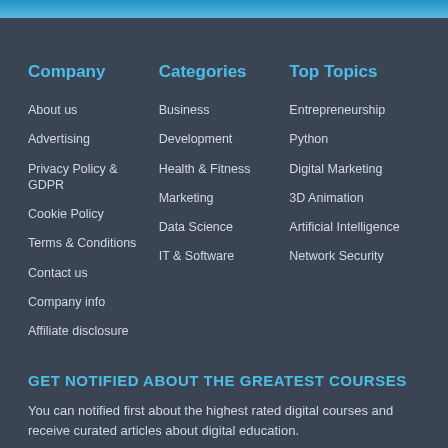Company
About us
Advertising
Privacy Policy & GDPR
Cookie Policy
Terms & Conditions
Contact us
Company info
Affiliate disclosure
Categories
Business
Development
Health & Fitness
Marketing
Data Science
IT & Software
Top Topics
Entrepreneurship
Python
Digital Marketing
3D Animation
Artificial Intelligence
Network Security
GET NOTIFIED ABOUT THE GREATEST COURSES
You can notified first about the highest rated digital courses and receive curated articles about digital education.